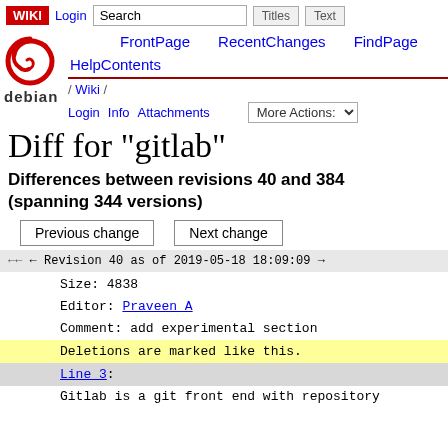WIKI  Login  Search  Titles  Text  FrontPage  RecentChanges  FindPage
[Figure (logo): Debian swirl logo with 'debian' text below]
HelpContents
/ Wiki /
Login  Info  Attachments  More Actions:
Diff for "gitlab"
Differences between revisions 40 and 384 (spanning 344 versions)
Previous change   Next change
← ← Revision 40 as of 2019-05-18 18:09:09 →
Size: 4838
Editor: Praveen A
Comment: add experimental section
Deletions are marked like this.
Line 3:
Gitlab is a git front end with repository